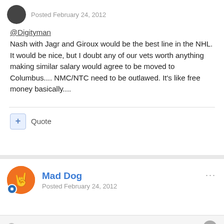Posted February 24, 2012
@Digityman
Nash with Jagr and Giroux would be the best line in the NHL. It would be nice, but I doubt any of our vets worth anything making similar salary would agree to be moved to Columbus.... NMC/NTC need to be outlawed. It's like free money basically....
+ Quote
Mad Dog
Posted February 24, 2012
On 2/24/2012 at 1:12 PM, Bertmega said:
@brelic
I hope not. His system is a little annoying, his line combos